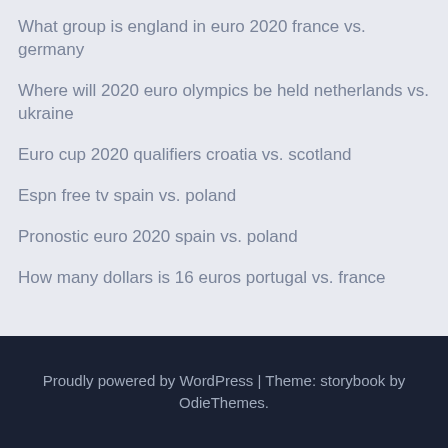What group is england in euro 2020 france vs. germany
Where will 2020 euro olympics be held netherlands vs. ukraine
Euro cup 2020 qualifiers croatia vs. scotland
Espn free tv spain vs. poland
Pronostic euro 2020 spain vs. poland
How many dollars is 16 euros portugal vs. france
Proudly powered by WordPress | Theme: storybook by OdieThemes.